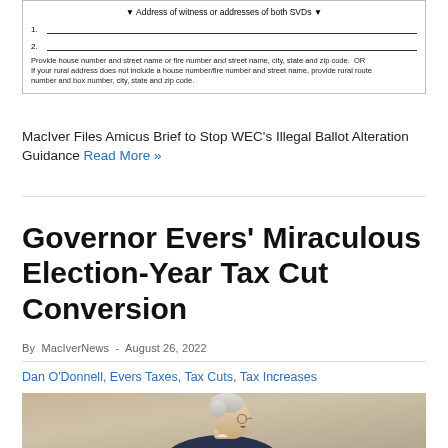[Figure (other): Form section showing 'Address of witness or addresses of both SVDs' with two numbered address lines and instructional note about providing house number, street name, city, state and zip code.]
MacIver Files Amicus Brief to Stop WEC's Illegal Ballot Alteration Guidance Read More »
Governor Evers' Miraculous Election-Year Tax Cut Conversion
By MacIverNews - August 26, 2022
Dan O'Donnell, Evers Taxes, Tax Cuts, Tax Increases
[Figure (photo): Photo of Governor Evers, an older man with white hair and glasses, wearing a dark suit, laughing or speaking with mouth open, photographed from the side in profile.]